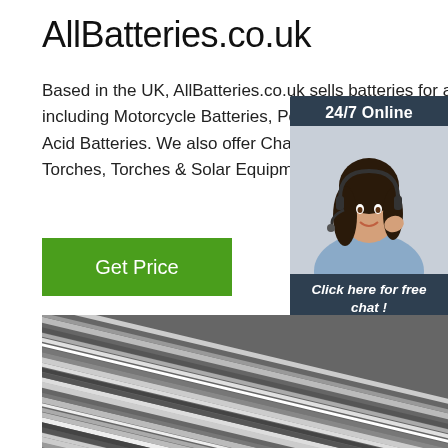AllBatteries.co.uk
Based in the UK, AllBatteries.co.uk sells batteries for all applications including Motorcycle Batteries, Power Tool Batteries & Sealed Lead Acid Batteries. We also offer Chargers, Power Supplies, Head Torches, Torches & Solar Equipment at unbeatable prices online. S
Get Price
[Figure (infographic): 24/7 Online chat widget with female agent wearing headset, 'Click here for free chat!' text and orange QUOTATION button on dark blue background]
[Figure (photo): Close-up photo of coiled metal wire cables in black and white/silver tones]
[Figure (logo): Orange TOP logo badge with dotted arc design]